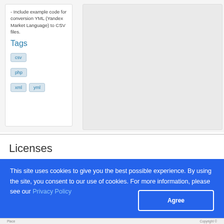- Include example code for conversion YML (Yandex Market Language) to CSV files.
Tags
csv
php
xml
yml
Licenses
This site uses cookies to give you the best possible experience. By using the site, you consent to our use of cookies. For more information, please see our Privacy Policy
Place    Copyright